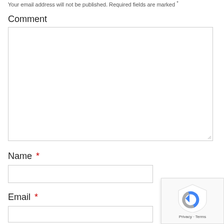Your email address will not be published. Required fields are marked *
Comment
[Figure (screenshot): Empty comment textarea input box with resize handle]
Name *
[Figure (screenshot): Empty name text input field]
Email *
[Figure (screenshot): Empty email text input field]
[Figure (other): reCAPTCHA badge with Privacy and Terms links]